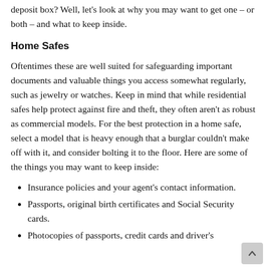deposit box? Well, let's look at why you may want to get one – or both – and what to keep inside.
Home Safes
Oftentimes these are well suited for safeguarding important documents and valuable things you access somewhat regularly, such as jewelry or watches. Keep in mind that while residential safes help protect against fire and theft, they often aren't as robust as commercial models. For the best protection in a home safe, select a model that is heavy enough that a burglar couldn't make off with it, and consider bolting it to the floor. Here are some of the things you may want to keep inside:
Insurance policies and your agent's contact information.
Passports, original birth certificates and Social Security cards.
Photocopies of passports, credit cards and driver's